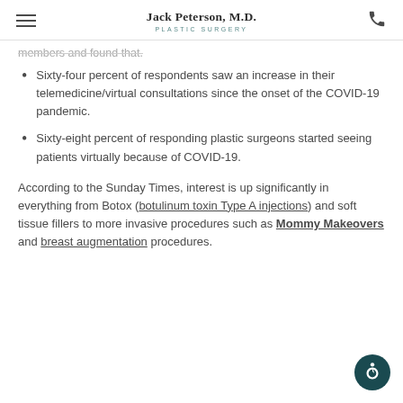Jack Peterson, M.D. — Plastic Surgery
members and found that.
Sixty-four percent of respondents saw an increase in their telemedicine/virtual consultations since the onset of the COVID-19 pandemic.
Sixty-eight percent of responding plastic surgeons started seeing patients virtually because of COVID-19.
According to the Sunday Times, interest is up significantly in everything from Botox (botulinum toxin Type A injections) and soft tissue fillers to more invasive procedures such as Mommy Makeovers and breast augmentation procedures.